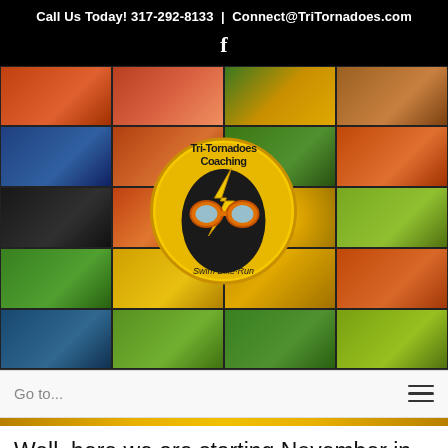Call Us Today! 317-292-8133  |  Connect@TriTornadoes.com
[Figure (photo): Facebook icon in white on black background]
[Figure (photo): Collage of triathlon photos with Tri-Tornadoes Coaching logo overlay in center, featuring athletes in orange and yellow gear swimming, biking, and running]
Go to...
Well, here we are starting November in Indiana and anywhere where you have a winter season for that matter, and you are asking yourself, what